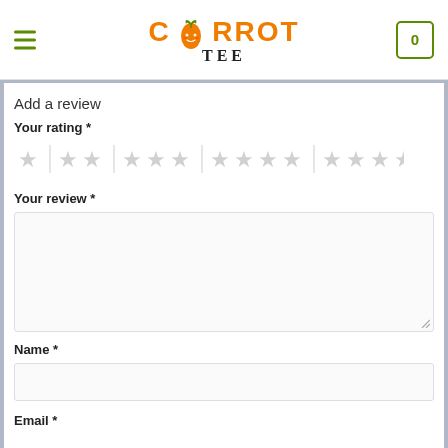CARROT TEE — navigation header with logo, hamburger menu, and cart icon
Add a review
Your rating *
[Figure (other): Star rating selector with 5 groups: 1 star, 2 stars, 3 stars, 4 stars, 5 stars — all shown in light grey (unselected)]
Your review *
Name *
Email *